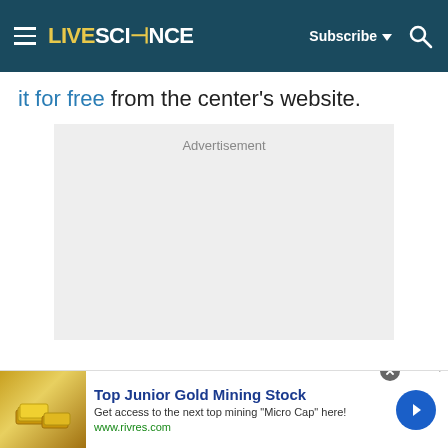LIVESCIENCE | Subscribe | Search
it for free from the center's website.
[Figure (other): Advertisement placeholder box — light grey rectangle with 'Advertisement' label]
[Figure (other): Bottom banner ad for Top Junior Gold Mining Stock. Image of gold bars on left. Text: 'Top Junior Gold Mining Stock', 'Get access to the next top mining "Micro Cap" here!', 'www.rivres.com'. Blue arrow button on right.]